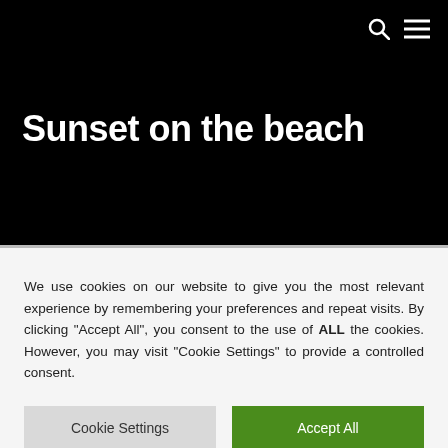Sunset on the beach
Sunset on the beach
We use cookies on our website to give you the most relevant experience by remembering your preferences and repeat visits. By clicking “Accept All”, you consent to the use of ALL the cookies. However, you may visit "Cookie Settings" to provide a controlled consent.
Cookie Settings | Accept All